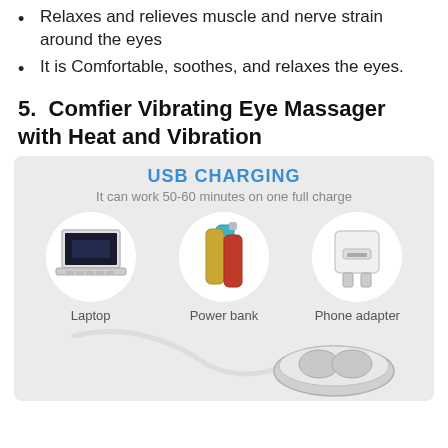Relaxes and relieves muscle and nerve strain around the eyes
It is Comfortable, soothes, and relaxes the eyes.
5.  Comfier Vibrating Eye Massager with Heat and Vibration
[Figure (infographic): USB Charging infographic showing the eye massager can work 50-60 minutes on one full charge. Three circular icons show compatible charging sources: Laptop, Power bank, Phone adapter. Below is an image of the eye massager device with a USB cable.]